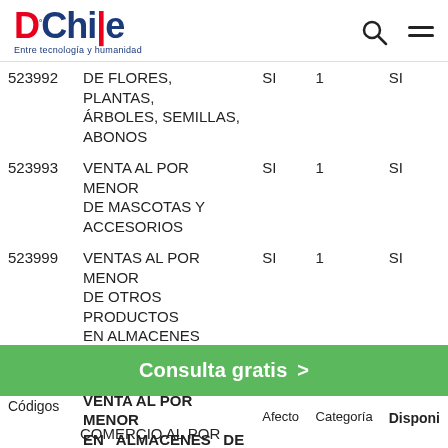DChile - Entre tecnología y humanidad
| Códigos | Descripción | Afecto | Categoría | Disponible |
| --- | --- | --- | --- | --- |
| 523992 | DE FLORES, PLANTAS, ÁRBOLES, SEMILLAS, ABONOS | SI | 1 | SI |
| 523993 | VENTA AL POR MENOR DE MASCOTAS Y ACCESORIOS | SI | 1 | SI |
| 523999 | VENTAS AL POR MENOR DE OTROS PRODUCTOS EN ALMACENES ESPECIALIZADOS N.C.P. | SI | 1 | SI |
|  | VENTA AL POR MENOR EN ALMACENES DE |  |  |  |
Consulta gratis >
COMERCIO AL POR